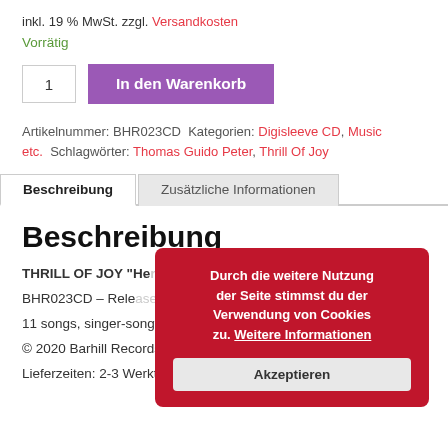inkl. 19 % MwSt. zzgl. Versandkosten
Vorrätig
1   In den Warenkorb
Artikelnummer: BHR023CD Kategorien: Digisleeve CD, Music etc. Schlagwörter: Thomas Guido Peter, Thrill Of Joy
Beschreibung   Zusätzliche Informationen
Beschreibung
THRILL OF JOY "Herzlich Wir Kommen"
BHR023CD – Release date: 22.07.2020, digisleeve CD
11 songs, singer-songwriter
© 2020 Barhill Records
Lieferzeiten: 2-3 Werktage nach Zahlungseingang
Durch die weitere Nutzung der Seite stimmst du der Verwendung von Cookies zu. Weitere Informationen Akzeptieren